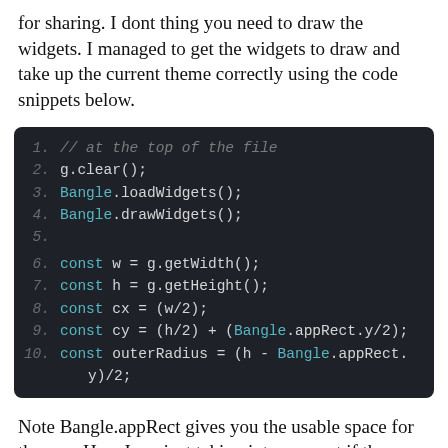for sharing. I dont thing you need to draw the widgets. I managed to get the widgets to draw and take up the current theme correctly using the code snippets below.
[Figure (screenshot): Dark-themed code block showing JavaScript code lines 1–10: comment '// at the top of the file', g.clear(), Bangle.loadWidgets(), Bangle.drawWidgets(), blank line, const w = g.getWidth(), const h = g.getHeight(), const cx = (w/2), const cy = (h/2) + (Bangle.appRect.y/2), const outerRadius = (h - Bangle.appRect.y)/2;]
Note Bangle.appRect gives you the usable space for the app. Here I am just taking into account if there are widgets on the top, but the approach could be adjusted for the bottom as well taking into account Bangle.appRect.h.